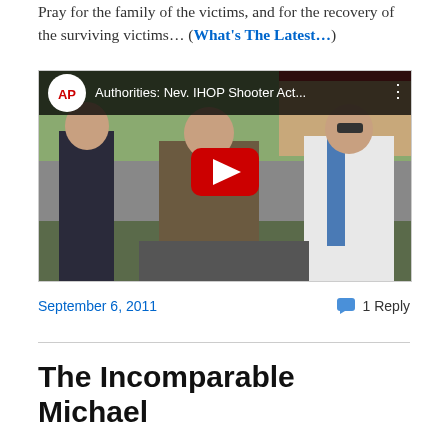Pray for the family of the victims, and for the recovery of the surviving victims… (What's The Latest…)
[Figure (screenshot): YouTube video embed showing AP News video titled 'Authorities: Nev. IHOP Shooter Act…' with a play button overlay. The thumbnail shows law enforcement officials at a press conference outdoors.]
September 6, 2011
1 Reply
The Incomparable Michael